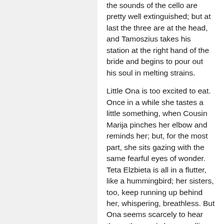the sounds of the cello are pretty well extinguished; but at last the three are at the head, and Tamoszius takes his station at the right hand of the bride and begins to pour out his soul in melting strains.
Little Ona is too excited to eat. Once in a while she tastes a little something, when Cousin Marija pinches her elbow and reminds her; but, for the most part, she sits gazing with the same fearful eyes of wonder. Teta Elzbieta is all in a flutter, like a hummingbird; her sisters, too, keep running up behind her, whispering, breathless. But Ona seems scarcely to hear them- the music keeps calling, and the far-off look comes back, and she sits with her hands pressed together over her heart. Then the tears begin to come into her eyes; and